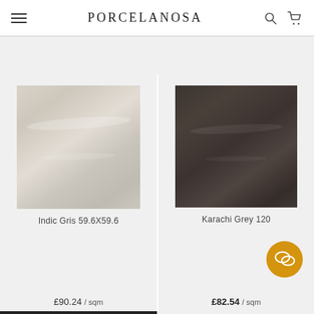PORCELANOSA
[Figure (photo): Porcelanosa product listing page showing two tile products side by side. Left: Indic Gris 59.6X59.6 tile (light beige/grey marble-look tile). Right: Karachi Grey 120 tile (dark brown/charcoal marble-look tile).]
Indic Gris 59.6X59.6
Karachi Grey 120
£90.24 / sqm
£82.54 / sqm